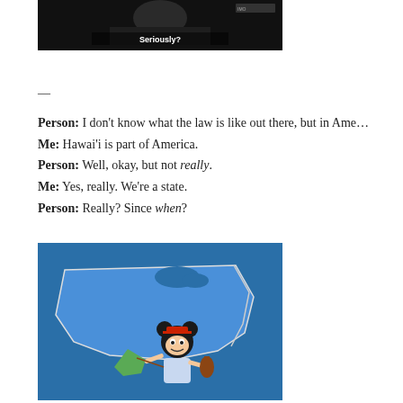[Figure (screenshot): A dark screenshot showing a person with the subtitle text 'Seriously?' and a small logo/watermark in the upper right corner.]
—
Person: I don't know what the law is like out there, but in Ame…
Me: Hawai'i is part of America.
Person: Well, okay, but not really.
Me: Yes, really. We're a state.
Person: Really? Since when?
[Figure (screenshot): An animated cartoon screenshot showing a Mickey Mouse-like character playing a violin, standing in front of a stylized blue map of the United States with state outlines.]